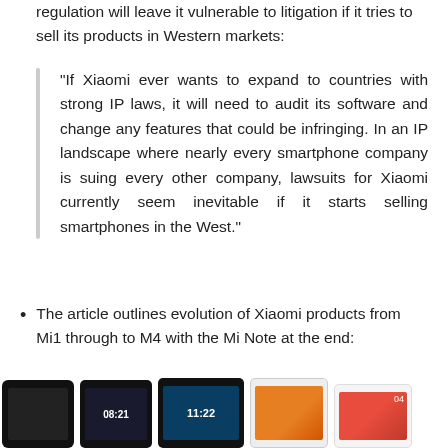regulation will leave it vulnerable to litigation if it tries to sell its products in Western markets:
“If Xiaomi ever wants to expand to countries with strong IP laws, it will need to audit its software and change any features that could be infringing. In an IP landscape where nearly every smartphone company is suing every other company, lawsuits for Xiaomi currently seem inevitable if it starts selling smartphones in the West.”
The article outlines evolution of Xiaomi products from Mi1 through to M4 with the Mi Note at the end:
[Figure (photo): Five Xiaomi smartphones shown side by side, representing the evolution from Mi1 through Mi4 and the Mi Note, displayed at the bottom of the page.]